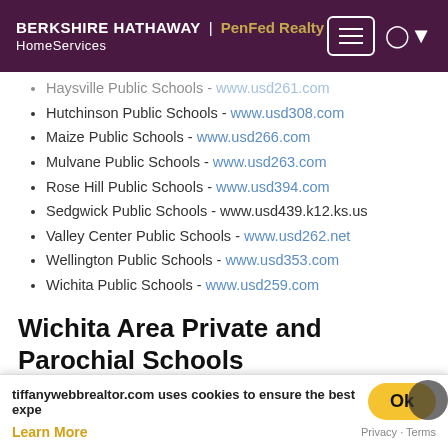BERKSHIRE HATHAWAY | PenFed Realty HomeServices
Haysville Public Schools - www.usd261.com
Hutchinson Public Schools - www.usd308.com
Maize Public Schools - www.usd266.com
Mulvane Public Schools - www.usd263.com
Rose Hill Public Schools - www.usd394.com
Sedgwick Public Schools - www.usd439.k12.ks.us
Valley Center Public Schools - www.usd262.net
Wellington Public Schools - www.usd353.com
Wichita Public Schools - www.usd259.com
Wichita Area Private and Parochial Schools
Catholic Diocese - www.cdowk.org
Central Christian Academy - www.centralcc...
Holy Cross Lutheran School - www.holycrosslu...
Sunrise Christian Academy - www.sunrisechristian...